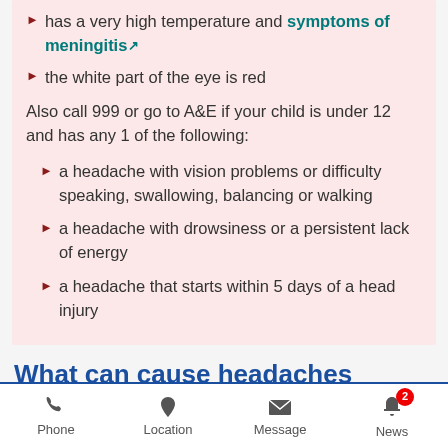has a very high temperature and symptoms of meningitis
the white part of the eye is red
Also call 999 or go to A&E if your child is under 12 and has any 1 of the following:
a headache with vision problems or difficulty speaking, swallowing, balancing or walking
a headache with drowsiness or a persistent lack of energy
a headache that starts within 5 days of a head injury
What can cause headaches
The most common reasons are:
Phone | Location | Message | News (2)